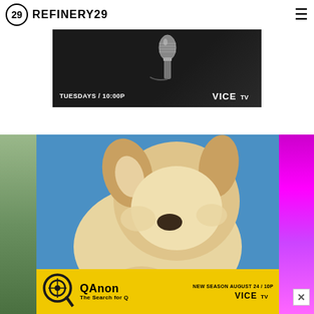REFINERY29
[Figure (photo): Advertisement banner on dark background showing a microphone, with text 'TUESDAYS / 10:00P' and VICE TV logo]
[Figure (photo): Photo of a fluffy Pomeranian dog lying down, with partial colored strips on sides]
[Figure (photo): QAnon: The Search for Q advertisement banner in yellow with VICE TV logo, text 'NEW SEASON AUGUST 24 / 10P']